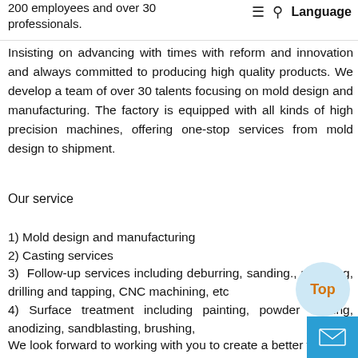≡  🔍  Language
200 employees and over 30 professionals.
Insisting on advancing with times with reform and innovation and always committed to producing high quality products. We develop a team of over 30 talents focusing on mold design and manufacturing. The factory is equipped with all kinds of high precision machines, offering one-stop services from mold design to shipment.
Our service
1) Mold design and manufacturing
2) Casting services
3) Follow-up services including deburring, sanding., polishing, drilling and tapping, CNC machining, etc
4) Surface treatment including painting, powder coating, anodizing, sandblasting, brushing,
We look forward to working with you to create a better future.